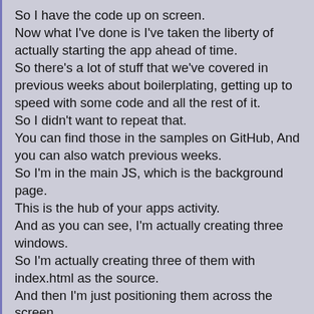So I have the code up on screen. Now what I've done is I've taken the liberty of actually starting the app ahead of time. So there's a lot of stuff that we've covered in previous weeks about boilerplating, getting up to speed with some code and all the rest of it. So I didn't want to repeat that. You can find those in the samples on GitHub, And you can also watch previous weeks. So I'm in the main JS, which is the background page. This is the hub of your apps activity. And as you can see, I'm actually creating three windows. So I'm actually creating three of them with index.html as the source. And then I'm just positioning them across the screen. And they're identical apart from the fact that I'm pushing on variables. Now, the way to talk to a window. So the window that gets passed back as this in the callback function is an app window, which isn't the same as the